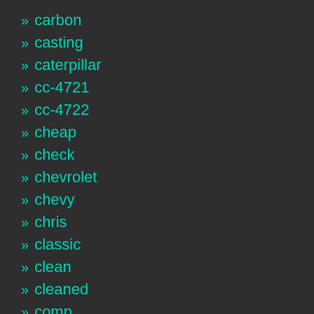» carbon
» casting
» caterpillar
» cc-4721
» cc-4722
» cheap
» check
» chevrolet
» chevy
» chris
» classic
» clean
» cleaned
» comp